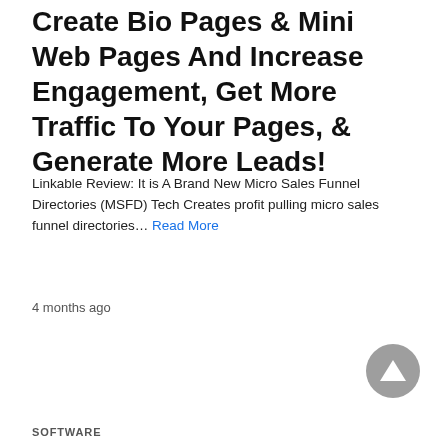Create Bio Pages & Mini Web Pages And Increase Engagement, Get More Traffic To Your Pages, & Generate More Leads!
Linkable Review: It is A Brand New Micro Sales Funnel Directories (MSFD) Tech Creates profit pulling micro sales funnel directories… Read More
4 months ago
SOFTWARE